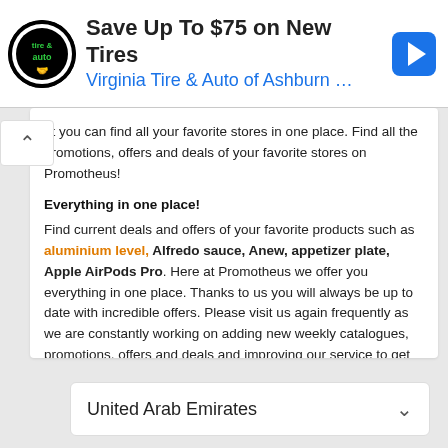[Figure (infographic): Advertisement banner for Virginia Tire & Auto of Ashburn showing logo, headline 'Save Up To $75 on New Tires', subtitle 'Virginia Tire & Auto of Ashburn …', and a blue navigation arrow icon]
at you can find all your favorite stores in one place. Find all the promotions, offers and deals of your favorite stores on Promotheus!
Everything in one place!
Find current deals and offers of your favorite products such as aluminium level, Alfredo sauce, Anew, appetizer plate, Apple AirPods Pro. Here at Promotheus we offer you everything in one place. Thanks to us you will always be up to date with incredible offers. Please visit us again frequently as we are constantly working on adding new weekly catalogues, promotions, offers and deals and improving our service to get the best prices for you.
United Arab Emirates